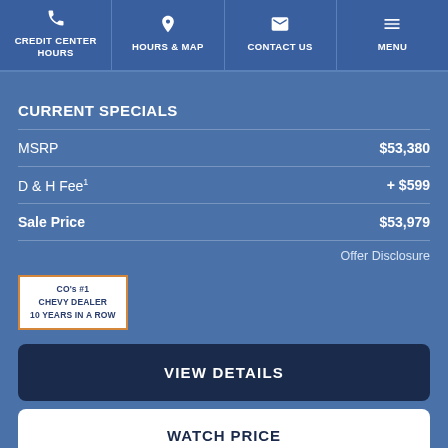CREDIT CENTER HOURS | HOURS & MAP | CONTACT US | MENU
CURRENT SPECIALS
|  |  |
| --- | --- |
| MSRP | $53,380 |
| D & H Fee¹ | + $599 |
| Sale Price | $53,979 |
Offer Disclosure
[Figure (logo): CO's #1 CHEVY DEALER 10 YEARS IN A ROW badge with orange border]
VIEW DETAILS
WATCH PRICE